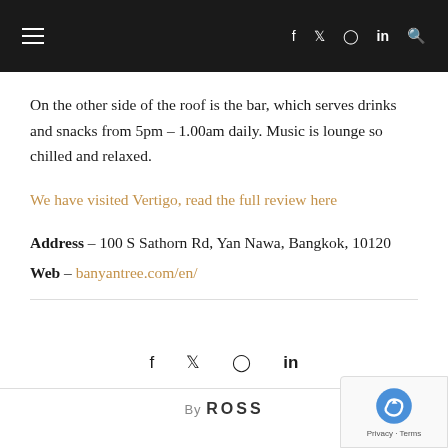≡  f  𝕏  ⊙  in  🔍
On the other side of the roof is the bar, which serves drinks and snacks from 5pm – 1.00am daily. Music is lounge so chilled and relaxed.
We have visited Vertigo, read the full review here
Address – 100 S Sathorn Rd, Yan Nawa, Bangkok, 10120
Web – banyantree.com/en/
f  𝕏  ⊙  in